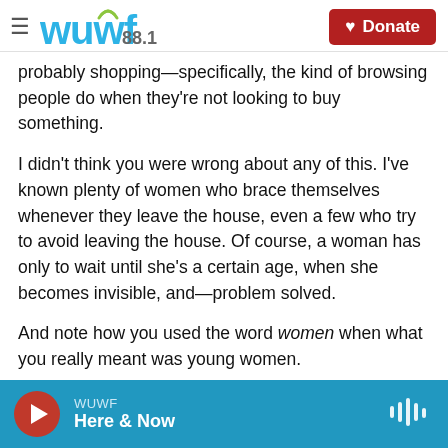WUWF 88.1 | Donate
probably shopping—specifically, the kind of browsing people do when they're not looking to buy something.
I didn't think you were wrong about any of this. I've known plenty of women who brace themselves whenever they leave the house, even a few who try to avoid leaving the house. Of course, a woman has only to wait until she's a certain age, when she becomes invisible, and—problem solved.
And note how you used the word women when what you really meant was young women.
WUWF Here & Now